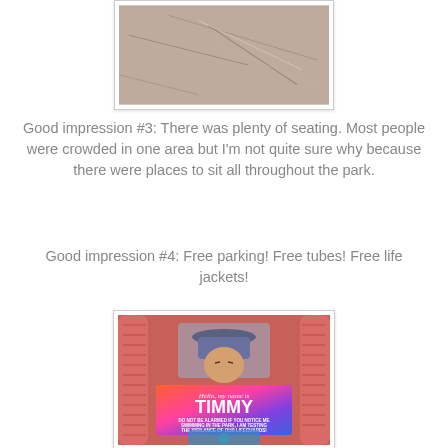[Figure (photo): Top portion of a photo showing a sandy/concrete ground surface with a faint line or crack visible.]
Good impression #3:  There was plenty of seating.  Most people were crowded in one area but I'm not quite sure why because there were places to sit all throughout the park.
Good impression #4:  Free parking!  Free tubes!  Free life jackets!
[Figure (photo): A child sitting in a red wicker chair, wearing a bucket hat and holding a colorful sign that reads 'Hello, my name is TIMMY. DO NOT BE ALARMED IF YOU NOTICE ME SWIMMING IN THE PARK, I AM TESTING THE VIGILANCE OF OUR LIFEGUARDS!' with a park logo at the bottom.]